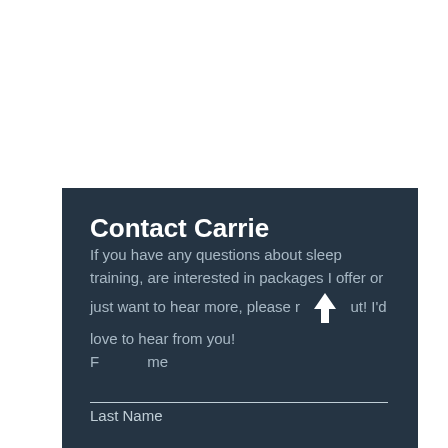Contact Carrie
If you have any questions about sleep training, are interested in packages I offer or just want to hear more, please reach out! I'd love to hear from you!
First Name
Last Name